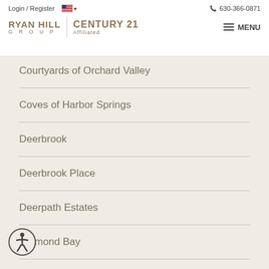Login / Register  630-366-0871
[Figure (logo): Ryan Hill Group Century 21 Affiliated logo with menu button]
Courtyards of Orchard Valley
Coves of Harbor Springs
Deerbrook
Deerbrook Place
Deerpath Estates
Diamond Bay
Emerald Shores
...nswood
Forestview